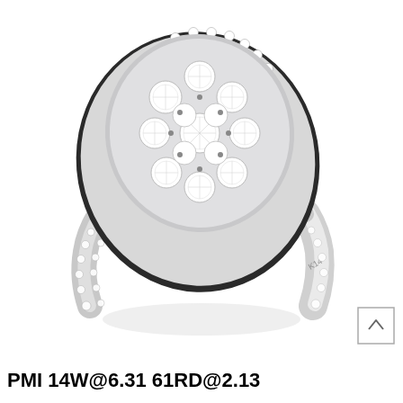[Figure (photo): A diamond cluster ring in white gold (14K) featuring a large oval-shaped cluster of round brilliant diamonds surrounded by a halo of smaller diamonds, with diamond-set split shank band. The ring is photographed on a white background.]
PMI 14W@6.31 61RD@2.13